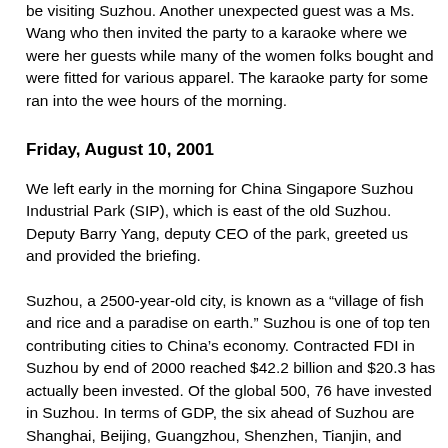be visiting Suzhou. Another unexpected guest was a Ms. Wang who then invited the party to a karaoke where we were her guests while many of the women folks bought and were fitted for various apparel. The karaoke party for some ran into the wee hours of the morning.
Friday, August 10, 2001
We left early in the morning for China Singapore Suzhou Industrial Park (SIP), which is east of the old Suzhou. Deputy Barry Yang, deputy CEO of the park, greeted us and provided the briefing.
Suzhou, a 2500-year-old city, is known as a “village of fish and rice and a paradise on earth.” Suzhou is one of top ten contributing cities to China’s economy. Contracted FDI in Suzhou by end of 2000 reached $42.2 billion and $20.3 has actually been invested. Of the global 500, 76 have invested in Suzhou. In terms of GDP, the six ahead of Suzhou are Shanghai, Beijing, Guangzhou, Shenzhen, Tianjin, and Chongqing, all much larger than Suzhou. Per cap GDP reached $9,300 in 2000.